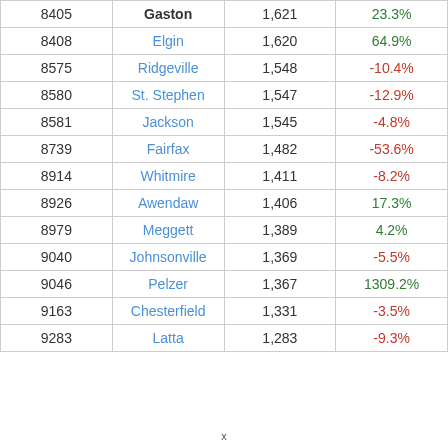| Rank | Name | Population | Change |
| --- | --- | --- | --- |
| 8405 | Gaston | 1,621 | 23.3% |
| 8408 | Elgin | 1,620 | 64.9% |
| 8575 | Ridgeville | 1,548 | -10.4% |
| 8580 | St. Stephen | 1,547 | -12.9% |
| 8581 | Jackson | 1,545 | -4.8% |
| 8739 | Fairfax | 1,482 | -53.6% |
| 8914 | Whitmire | 1,411 | -8.2% |
| 8926 | Awendaw | 1,406 | 17.3% |
| 8979 | Meggett | 1,389 | 4.2% |
| 9040 | Johnsonville | 1,369 | -5.5% |
| 9046 | Pelzer | 1,367 | 1309.2% |
| 9163 | Chesterfield | 1,331 | -3.5% |
| 9283 | Latta | 1,283 | -9.3% |
x